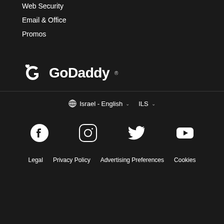Web Security
Email & Office
Promos
[Figure (logo): GoDaddy logo — white stylized G icon and GoDaddy wordmark on dark background]
⊕ Israel - English ∨   ILS ∨
[Figure (infographic): Social media icons row: Facebook, Instagram, Twitter, YouTube — all white on dark background]
Legal   Privacy Policy   Advertising Preferences   Cookies